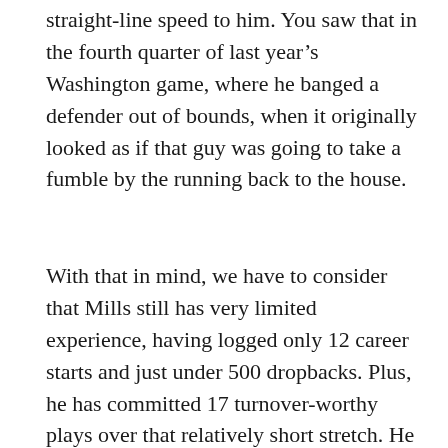straight-line speed to him. You saw that in the fourth quarter of last year’s Washington game, where he banged a defender out of bounds, when it originally looked as if that guy was going to take a fumble by the running back to the house.
With that in mind, we have to consider that Mills still has very limited experience, having logged only 12 career starts and just under 500 dropbacks. Plus, he has committed 17 turnover-worthy plays over that relatively short stretch. He is so inconsistent with his releases and position of his feet, and he just for a little bit of...